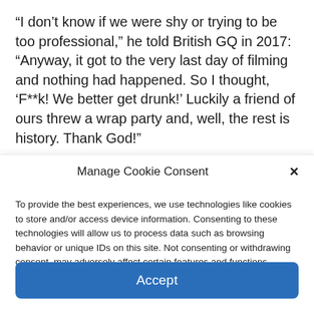“I don’t know if we were shy or trying to be too professional,” he told British GQ in 2017: “Anyway, it got to the very last day of filming and nothing had happened. So I thought, ‘F**k! We better get drunk!’ Luckily a friend of ours threw a wrap party and, well, the rest is history. Thank God!”
Manage Cookie Consent
To provide the best experiences, we use technologies like cookies to store and/or access device information. Consenting to these technologies will allow us to process data such as browsing behavior or unique IDs on this site. Not consenting or withdrawing consent, may adversely affect certain features and functions.
Accept